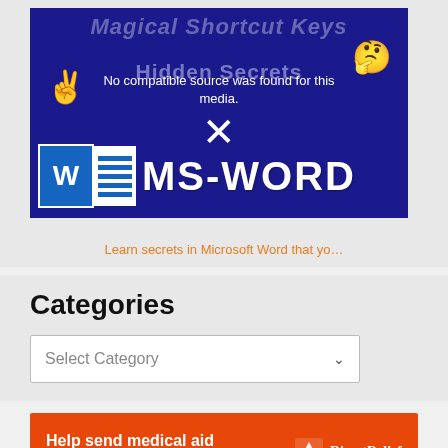[Figure (screenshot): Embedded video thumbnail for MS-Word Magical Shortcut Keys / Hidden Secrets with a media error message overlay showing an X and 'No compatible source was found for this media.']
Learn secrets in Microsoft Word that yo…
Categories
Select Category
[Figure (infographic): Orange banner: Help send medical aid to Ukraine >> with Direct Relief logo and text]